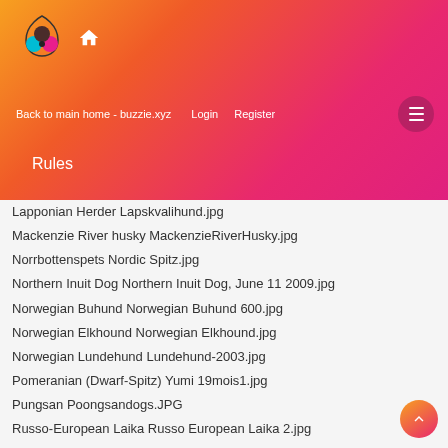[Figure (logo): Buzzie.xyz logo with colorful circles and home icon on gradient header]
Back to main home - buzzie.xyz   Login   Register
Rules
Lapponian Herder Lapskvalihund.jpg
Mackenzie River husky MackenzieRiverHusky.jpg
Norrbottenspets Nordic Spitz.jpg
Northern Inuit Dog Northern Inuit Dog, June 11 2009.jpg
Norwegian Buhund Norwegian Buhund 600.jpg
Norwegian Elkhound Norwegian Elkhound.jpg
Norwegian Lundehund Lundehund-2003.jpg
Pomeranian (Dwarf-Spitz) Yumi 19mois1.jpg
Pungsan Poongsandogs.JPG
Russo-European Laika Russo European Laika 2.jpg
Sakhalin Husky (extinct) Sakhalin Husky Jiro.JPG
Salish Wool Dog (extinct) PaulKane - A Woman Weaving a Blanket (ROM2005 5163).jpg
Samoyed Samoyed 600.jpg